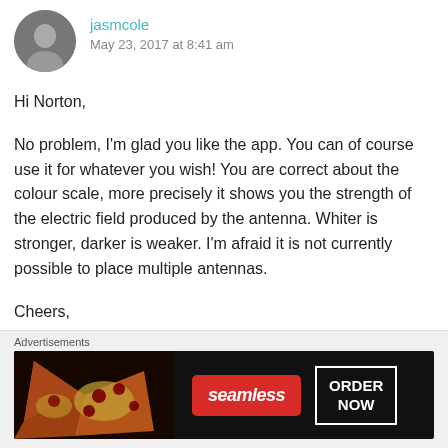jasmcole — May 23, 2017 at 8:41 am
Hi Norton,
No problem, I'm glad you like the app. You can of course use it for whatever you wish! You are correct about the colour scale, more precisely it shows you the strength of the electric field produced by the antenna. Whiter is stronger, darker is weaker. I'm afraid it is not currently possible to place multiple antennas.
Cheers,
[Figure (illustration): Seamless food ordering advertisement banner with pizza slices image, Seamless red logo button, and ORDER NOW button on dark background]
Advertisements